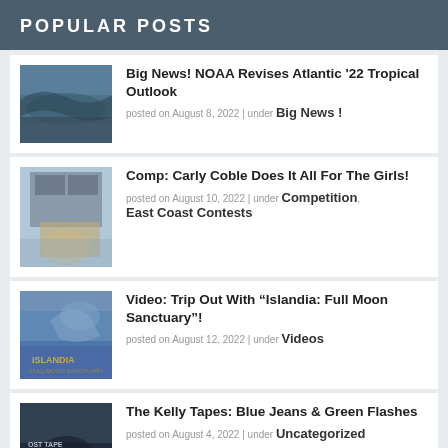POPULAR POSTS
Big News! NOAA Revises Atlantic '22 Tropical Outlook | posted on August 8, 2022 | under Big News !
Comp: Carly Coble Does It All For The Girls! | posted on August 10, 2022 | under Competition, East Coast Contests
Video: Trip Out With “Islandia: Full Moon Sanctuary”! | posted on August 12, 2022 | under Videos
The Kelly Tapes: Blue Jeans & Green Flashes | posted on August 4, 2022 | under Uncategorized